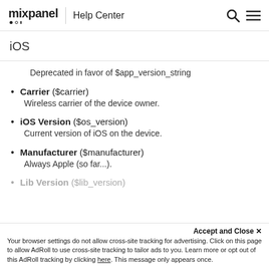mixpanel | Help Center
iOS
Deprecated in favor of $app_version_string
Carrier ($carrier) Wireless carrier of the device owner.
iOS Version ($os_version) Current version of iOS on the device.
Manufacturer ($manufacturer) Always Apple (so far...).
Lib Version ($lib_version)
Accept and Close ✕ Your browser settings do not allow cross-site tracking for advertising. Click on this page to allow AdRoll to use cross-site tracking to tailor ads to you. Learn more or opt out of this AdRoll tracking by clicking here. This message only appears once.